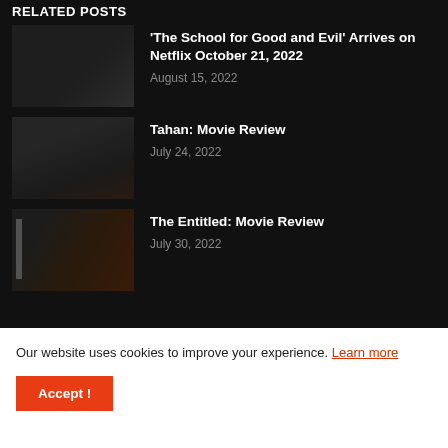RELATED POSTS
'The School for Good and Evil' Arrives on Netflix October 21, 2022 — August 15, 2022
Tahan: Movie Review — July 24, 2022
The Entitled: Movie Review — July 30, 2022
Our website uses cookies to improve your experience. Learn more
Accept !